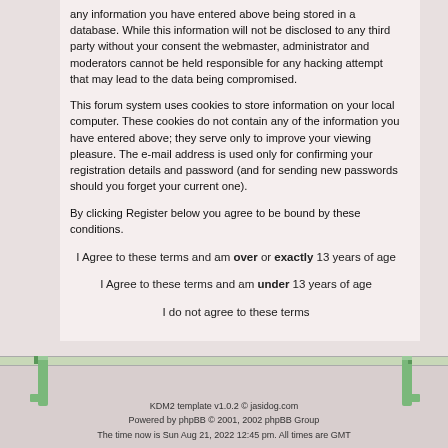any information you have entered above being stored in a database. While this information will not be disclosed to any third party without your consent the webmaster, administrator and moderators cannot be held responsible for any hacking attempt that may lead to the data being compromised.
This forum system uses cookies to store information on your local computer. These cookies do not contain any of the information you have entered above; they serve only to improve your viewing pleasure. The e-mail address is used only for confirming your registration details and password (and for sending new passwords should you forget your current one).
By clicking Register below you agree to be bound by these conditions.
I Agree to these terms and am over or exactly 13 years of age
I Agree to these terms and am under 13 years of age
I do not agree to these terms
KDM2 template v1.0.2 © jasidog.com
Powered by phpBB © 2001, 2002 phpBB Group
The time now is Sun Aug 21, 2022 12:45 pm. All times are GMT